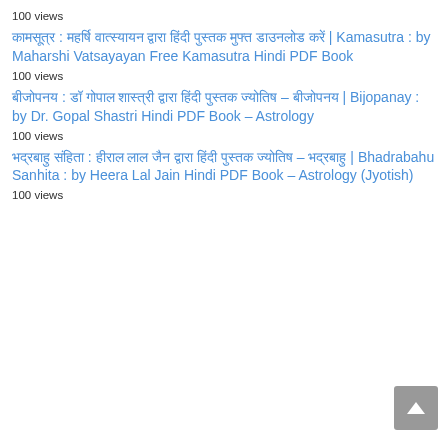100 views
कामसूत्र : महर्षि वात्स्यायन द्वारा हिंदी पुस्तक मुफ्त डाउनलोड करें | Kamasutra : by Maharshi Vatsayayan Free Kamasutra Hindi PDF Book
100 views
बीजोपनय : डॉ गोपाल शास्त्री द्वारा हिंदी पुस्तक ज्योतिष – बीजोपनय | Bijopanay : by Dr. Gopal Shastri Hindi PDF Book – Astrology
100 views
भद्रबाहु संहिता : हीराल लाल जैन द्वारा हिंदी पुस्तक ज्योतिष – भद्रबाहु | Bhadrabahu Sanhita : by Heera Lal Jain Hindi PDF Book – Astrology (Jyotish)
100 views